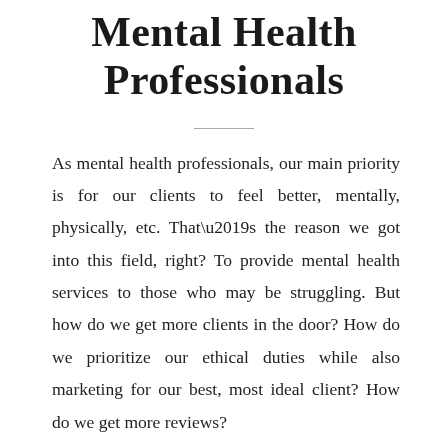Mental Health Professionals
As mental health professionals, our main priority is for our clients to feel better, mentally, physically, etc. That’s the reason we got into this field, right? To provide mental health services to those who may be struggling. But how do we get more clients in the door? How do we prioritize our ethical duties while also marketing for our best, most ideal client? How do we get more reviews?
The line between ethics and